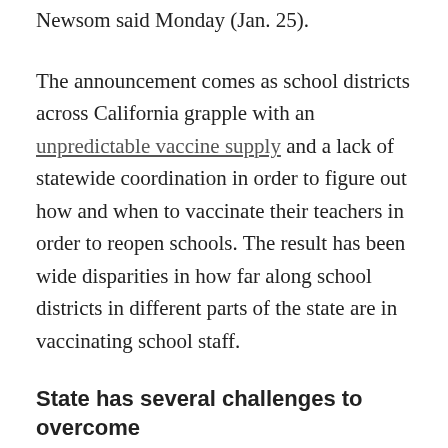Newsom said Monday (Jan. 25).
The announcement comes as school districts across California grapple with an unpredictable vaccine supply and a lack of statewide coordination in order to figure out how and when to vaccinate their teachers in order to reopen schools. The result has been wide disparities in how far along school districts in different parts of the state are in vaccinating school staff.
State has several challenges to overcome
A letter sent to members of the Community Vaccine Advisory Committee from Dr. Nadine Burke Harris, California surgeon general, and Dr. Erica Pan, state epidemiologist, on Monday says that while 2 million